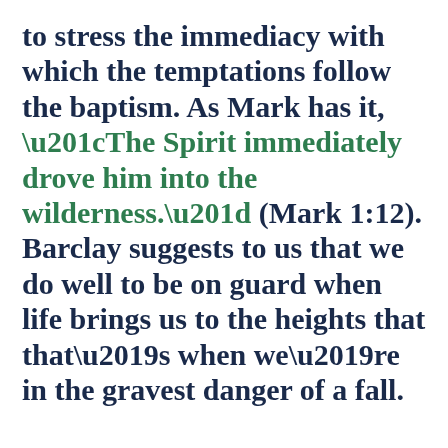to stress the immediacy with which the temptations follow the baptism. As Mark has it, “The Spirit immediately drove him into the wilderness.” (Mark 1:12). Barclay suggests to us that we do well to be on guard when life brings us to the heights that that’s when we’re in the gravest danger of a fall.

Second, we should not regard this